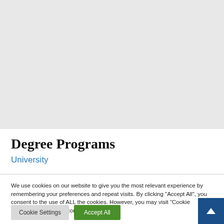[Figure (photo): Gray placeholder image at the top of the page]
Degree Programs
University
We use cookies on our website to give you the most relevant experience by remembering your preferences and repeat visits. By clicking "Accept All", you consent to the use of ALL the cookies. However, you may visit "Cookie Settings" to provide a controlled consent.
Cookie Settings | Accept All